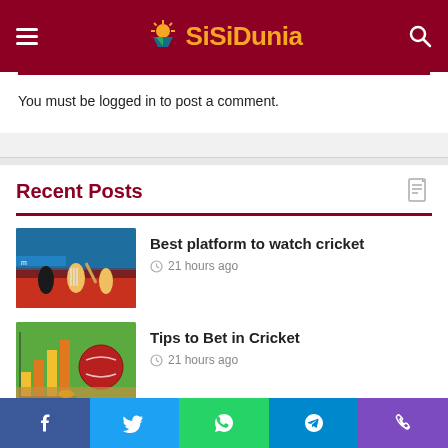SiSiDunia
You must be logged in to post a comment.
Recent Posts
[Figure (photo): Cricket players on field - batsman and fielders during an IPL match]
Best platform to watch cricket
21 hours ago
[Figure (photo): Cricket red ball on wooden surface with colorful bar charts in background on green grass]
Tips to Bet in Cricket
21 hours ago
Facebook | Twitter | WhatsApp | Telegram | Phone